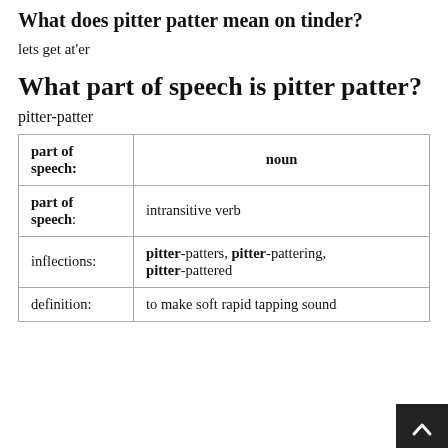What does pitter patter mean on tinder?
lets get at'er
What part of speech is pitter patter?
pitter-patter
| part of speech: | noun |
| --- | --- |
| part of speech: | intransitive verb |
| inflections: | pitter-patters, pitter-pattering, pitter-pattered |
| definition: | to make soft rapid tapping sound |